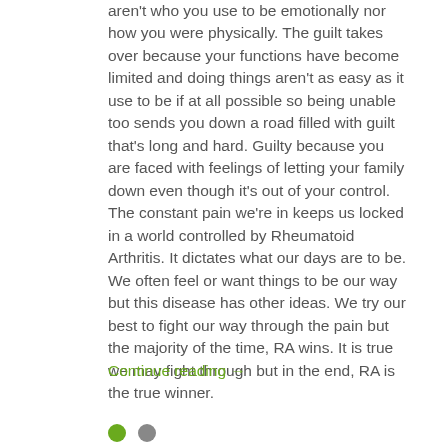aren't who you use to be emotionally nor how you were physically. The guilt takes over because your functions have become limited and doing things aren't as easy as it use to be if at all possible so being unable too sends you down a road filled with guilt that's long and hard. Guilty because you are faced with feelings of letting your family down even though it's out of your control. The constant pain we're in keeps us locked in a world controlled by Rheumatoid Arthritis. It dictates what our days are to be. We often feel or want things to be our way but this disease has other ideas. We try our best to fight our way through the pain but the majority of the time, RA wins. It is true we may fight through but in the end, RA is the true winner.
Continue reading →